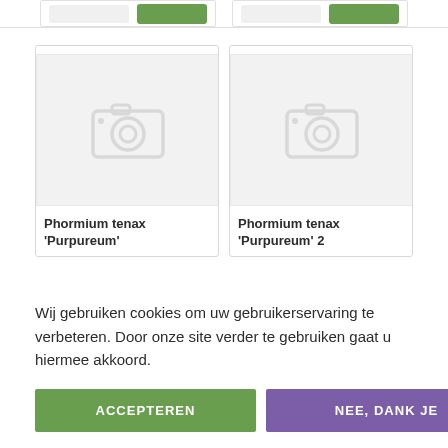[Figure (screenshot): Top strip showing partial product card UI elements including placeholder boxes and green buttons]
[Figure (photo): Product card placeholder image for Phormium tenax 'Purpureum' - grey camera placeholder icon on light grey background]
Phormium tenax 'Purpureum'
[Figure (photo): Product card placeholder image for Phormium tenax 'Purpureum' 2 - grey camera placeholder icon on light grey background]
Phormium tenax 'Purpureum' 2
Wij gebruiken cookies om uw gebruikerservaring te verbeteren. Door onze site verder te gebruiken gaat u hiermee akkoord.
ACCEPTEREN
NEE, DANK JE